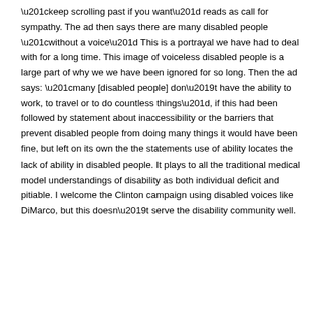“keep scrolling past if you want” reads as call for sympathy. The ad then says there are many disabled people “without a voice” This is a portrayal we have had to deal with for a long time. This image of voiceless disabled people is a large part of why we we have been ignored for so long. Then the ad says: “many [disabled people] don’t have the ability to work, to travel or to do countless things”, if this had been followed by statement about inaccessibility or the barriers that prevent disabled people from doing many things it would have been fine, but left on its own the the statements use of ability locates the lack of ability in disabled people. It plays to all the traditional medical model understandings of disability as both individual deficit and pitiable. I welcome the Clinton campaign using disabled voices like DiMarco, but this doesn’t serve the disability community well.